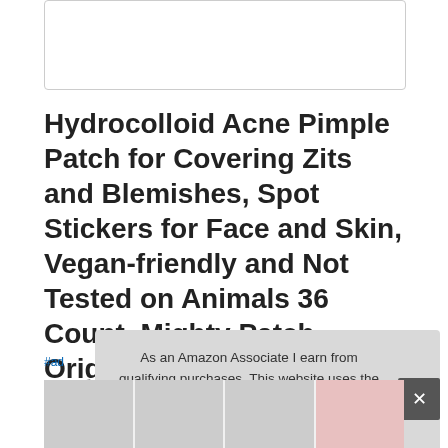[Figure (photo): White rectangular placeholder box at the top of the page]
Hydrocolloid Acne Pimple Patch for Covering Zits and Blemishes, Spot Stickers for Face and Skin, Vegan-friendly and Not Tested on Animals 36 Count, Mighty Patch Original from Hero Cosmetics
#ad
As an Amazon Associate I earn from qualifying purchases. This website uses the only necessary cookies to ensure you get the best experience on our website. More information